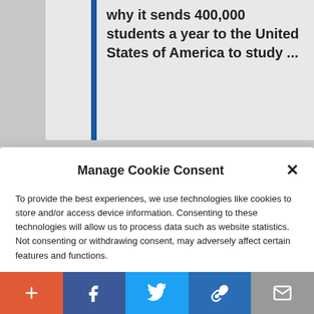why it sends 400,000 students a year to the United States of America to study ...
Manage Cookie Consent
To provide the best experiences, we use technologies like cookies to store and/or access device information. Consenting to these technologies will allow us to process data such as website statistics. Not consenting or withdrawing consent, may adversely affect certain features and functions.
Accept
Cookie Policy  Privacy Policy
to come back. They want to induce their return for the